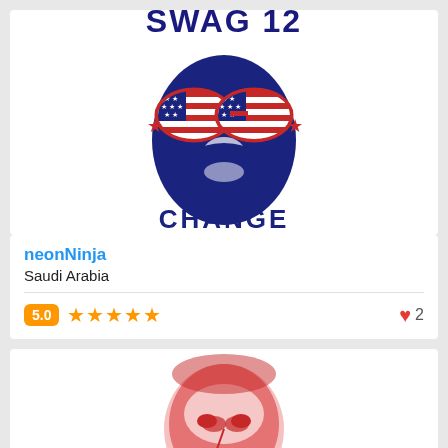[Figure (illustration): Stylized illustration of a figure wearing American flag-patterned sunglasses with blue and red tones, partial text reading 'SWAG 12' at top and 'CHANGE' at bottom]
neonNinja
Saudi Arabia
5.0 ★★★★★  ♥ 2
[Figure (illustration): Red and white stylized portrait illustration of a man in a suit, partial view cropped at bottom]